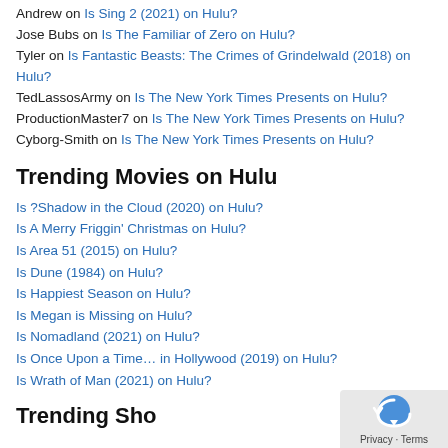Andrew on Is Sing 2 (2021) on Hulu?
Jose Bubs on Is The Familiar of Zero on Hulu?
Tyler on Is Fantastic Beasts: The Crimes of Grindelwald (2018) on Hulu?
TedLassosArmy on Is The New York Times Presents on Hulu?
ProductionMaster7 on Is The New York Times Presents on Hulu?
Cyborg-Smith on Is The New York Times Presents on Hulu?
Trending Movies on Hulu
Is ?Shadow in the Cloud (2020) on Hulu?
Is A Merry Friggin' Christmas on Hulu?
Is Area 51 (2015) on Hulu?
Is Dune (1984) on Hulu?
Is Happiest Season on Hulu?
Is Megan is Missing on Hulu?
Is Nomadland (2021) on Hulu?
Is Once Upon a Time… in Hollywood (2019) on Hulu?
Is Wrath of Man (2021) on Hulu?
Trending Shows on Hulu